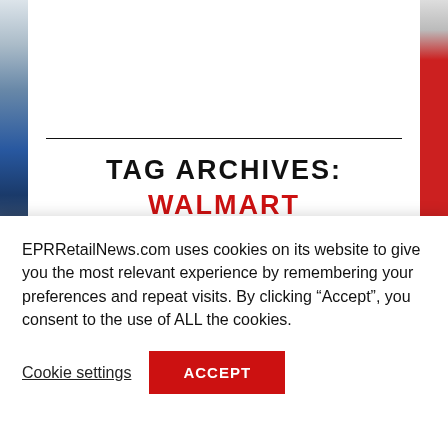[Figure (photo): Partial website screenshot showing left and right photo strip edges, with a tag archives heading in the center]
TAG ARCHIVES: WALMART WELLNESS DAY
POSTED ON JUNE 6, 2017 BY RETAIL NEWS EDITOR
EPRRetailNews.com uses cookies on its website to give you the most relevant experience by remembering your preferences and repeat visits. By clicking “Accept”, you consent to the use of ALL the cookies.
Cookie settings
ACCEPT